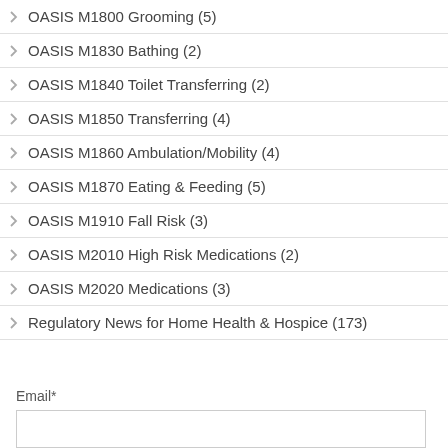OASIS M1800 Grooming (5)
OASIS M1830 Bathing (2)
OASIS M1840 Toilet Transferring (2)
OASIS M1850 Transferring (4)
OASIS M1860 Ambulation/Mobility (4)
OASIS M1870 Eating & Feeding (5)
OASIS M1910 Fall Risk (3)
OASIS M2010 High Risk Medications (2)
OASIS M2020 Medications (3)
Regulatory News for Home Health & Hospice (173)
Email*